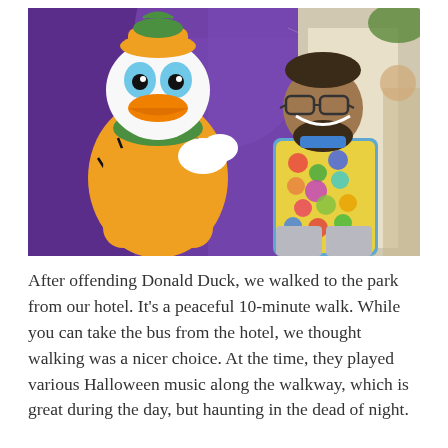[Figure (photo): A man in a colorful Toy Story-themed shirt posing with Donald Duck dressed in a Halloween pumpkin costume, in front of a purple backdrop with Halloween spider web decorations.]
After offending Donald Duck, we walked to the park from our hotel. It's a peaceful 10-minute walk. While you can take the bus from the hotel, we thought walking was a nicer choice. At the time, they played various Halloween music along the walkway, which is great during the day, but haunting in the dead of night.